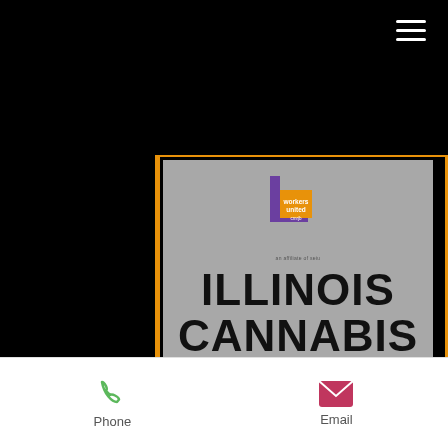[Figure (screenshot): Mobile website screenshot showing the Illinois Cannabis Union Project page by CMRJB Workers United, with a Workers United logo at top on grey background, large bold title text, and phone/email contact bar at bottom on white background. Black header bar with hamburger menu icon at top.]
ILLINOIS CANNABIS UNION PROJECT
CMRJB WORKERS UNITED
Phone   Email